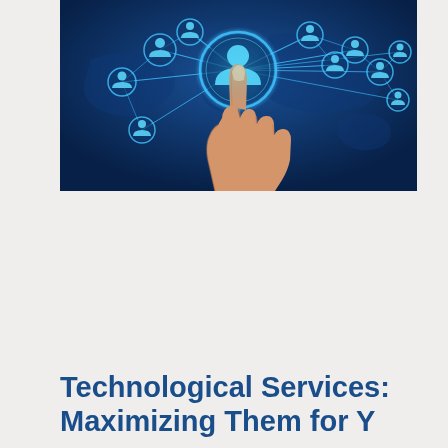[Figure (photo): A hand pointing with index finger at a glowing blue digital social network interface, with person/user icons connected by lines against a dark blue world map background.]
Technological Services: Maximizing Them for Y...